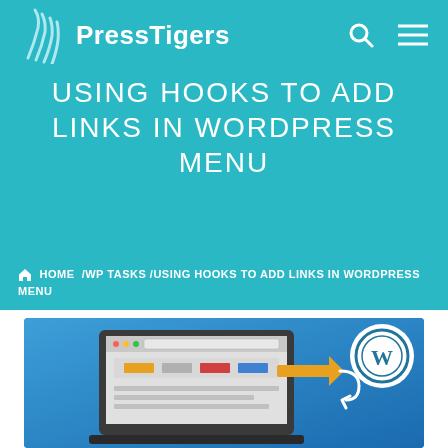PressTigers
USING HOOKS TO ADD LINKS IN WORDPRESS MENU
HOME / WP TASKS / USING HOOKS TO ADD LINKS IN WORDPRESS MENU
[Figure (illustration): Illustration showing a laptop computer with a navigation menu bar, connected via a hook/arrow mechanism to a WordPress logo circle icon on a blue gradient background]